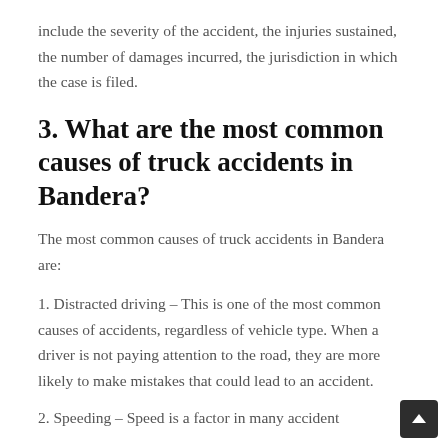include the severity of the accident, the injuries sustained, the number of damages incurred, the jurisdiction in which the case is filed.
3. What are the most common causes of truck accidents in Bandera?
The most common causes of truck accidents in Bandera are:
1. Distracted driving – This is one of the most common causes of accidents, regardless of vehicle type. When a driver is not paying attention to the road, they are more likely to make mistakes that could lead to an accident.
2. Speeding – Speed is a factor in many accident